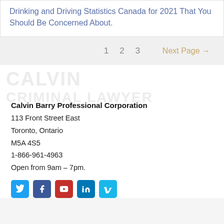Drinking and Driving Statistics Canada for 2021 That You Should Be Concerned About.
1  2  3  Next Page →
CALVIN
CRIMINAL LAWYER
Calvin Barry Professional Corporation
113 Front Street East
Toronto, Ontario
M5A 4S5
1-866-961-4963
Open from 9am – 7pm.